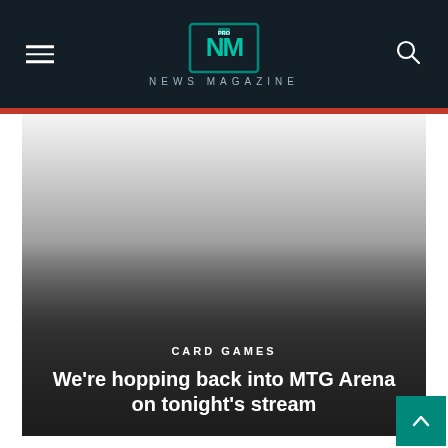NEWS MAGAZINE
[Figure (photo): Hero image with gradient overlay showing a dark atmospheric background for a card games article]
CARD GAMES
We're hopping back into MTG Arena on tonight's stream